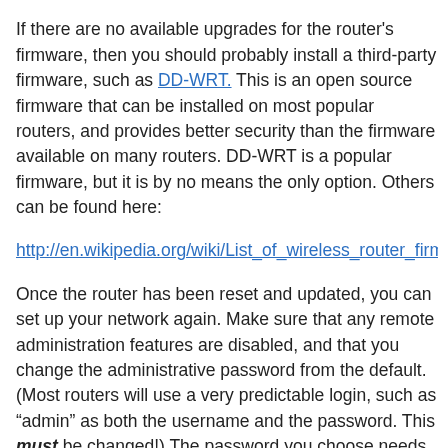manufacturer's customer support.
If there are no available upgrades for the router's firmware, then you should probably install a third-party firmware, such as DD-WRT. This is an open source firmware that can be installed on most popular routers, and provides better security than the firmware available on many routers. DD-WRT is a popular firmware, but it is by no means the only option. Others can be found here:
http://en.wikipedia.org/wiki/List_of_wireless_router_firmware_proj
Once the router has been reset and updated, you can set up your network again. Make sure that any remote administration features are disabled, and that you change the administrative password from the default. (Most routers will use a very predictable login, such as “admin” as both the username and the password. This must be changed!) The password you choose needs to be a secure one, not one that would be easy to guess. The wireless network should be protected with WPA2